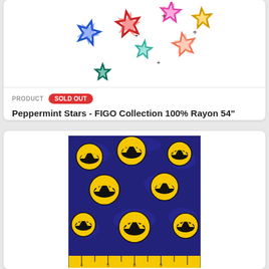[Figure (photo): Colorful peppermint star bow decorations (blue, red, pink, teal, orange, yellow) scattered on white background]
PRODUCT  SOLD OUT
Peppermint Stars - FIGO Collection 100% Rayon 54" wide
[Figure (photo): Batman logo fabric with yellow Batman symbols on dark blue/black background, with a yellow ruler at the bottom]